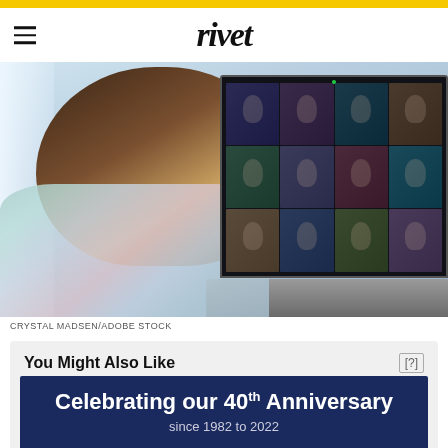rivet
[Figure (photo): Person seen from behind wearing a tie-dye hoodie, looking at a laptop screen showing a video conference grid (Zoom-style) with multiple participant thumbnails]
CRYSTAL MADSEN/ADOBE STOCK
You Might Also Like
[Figure (photo): Thumbnail image showing a dark space/galaxy background with a small icon in the top left corner]
Celebrating our 40th Anniversary since 1982 to 2022